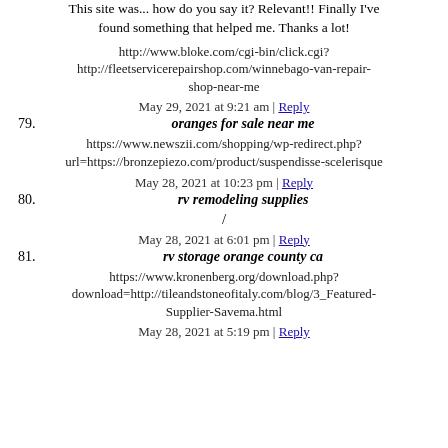This site was... how do you say it? Relevant!! Finally I've found something that helped me. Thanks a lot!
http://www.bloke.com/cgi-bin/click.cgi? http://fleetservicerepairshop.com/winnebago-van-repair-shop-near-me
May 29, 2021 at 9:21 am | Reply
79. oranges for sale near me
https://www.newszii.com/shopping/wp-redirect.php?url=https://bronzepiezo.com/product/suspendisse-scelerisque
May 28, 2021 at 10:23 pm | Reply
80. rv remodeling supplies
/
May 28, 2021 at 6:01 pm | Reply
81. rv storage orange county ca
https://www.kronenberg.org/download.php?download=http://tileandstoneofitaly.com/blog/3_Featured-Supplier-Savema.html
May 28, 2021 at 5:19 pm | Reply